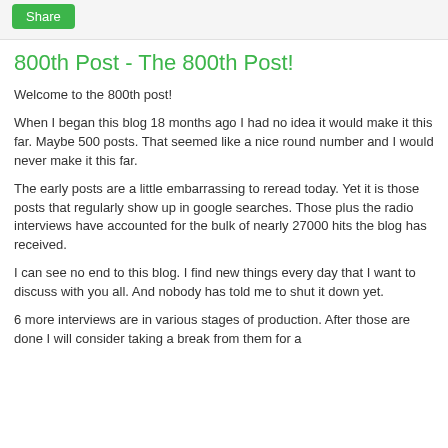[Figure (other): Share button UI element in top bar]
800th Post - The 800th Post!
Welcome to the 800th post!
When I began this blog 18 months ago I had no idea it would make it this far. Maybe 500 posts. That seemed like a nice round number and I would never make it this far.
The early posts are a little embarrassing to reread today. Yet it is those posts that regularly show up in google searches. Those plus the radio interviews have accounted for the bulk of nearly 27000 hits the blog has received.
I can see no end to this blog. I find new things every day that I want to discuss with you all. And nobody has told me to shut it down yet.
6 more interviews are in various stages of production. After those are done I will consider taking a break from them for a